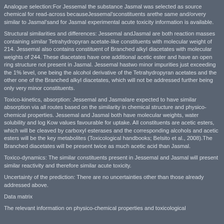Analogue selection:For Jessemal the substance Jasmal was selected as source chemical for read-across becauseJessemal'sconstituents arethe same and/orvery similar to Jasmal'sand for Jasmal experimental acute toxicity information is available.
Structural similarities and differences: Jessemal andJasmal are both reaction masses containing similar Tetrahydropyran acetate-like constituents with molecular weight of 214. Jessemal also contains constituent of Branched alkyl diacetates with molecular weights of 244. These diacetates have one additional acetic ester and have an open ring structure not present in Jasmal. Jessemal hastwo minor impurities just exceeding the 1% level, one being the alcohol derivative of the Tetrahydropyran acetates and the other one of the Branched alkyl diacetates, which will not be addressed further being only very minor constituents.
Toxico-kinetics, absorption: Jessemal and Jasmalare expected to have similar absorption via all routes based on the similarity in chemical structure and physico-chemical properties. Jessemal and Jasmal both have molecular weights, water solubility and log Kow values favourable for uptake. All constituents are acetic esters, which will be cleaved by carboxyl esterases and the corresponding alcohols and acetic esters will be the key metabolites (Toxicological handbooks; Belsito et al., 2008).The Branched diacetates will be present twice as much acetic acid than Jasmal.
Toxico-dynamics: The similar constituents present in Jessemal and Jasmal will present similar reactivity and therefore similar acute toxicity.
Uncertainty of the prediction: There are no uncertainties other than those already addressed above.
Data matrix
The relevant information on physico-chemical properties and toxicological